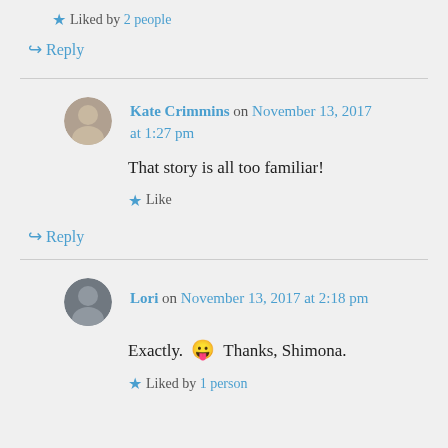Liked by 2 people
↪ Reply
Kate Crimmins on November 13, 2017 at 1:27 pm
That story is all too familiar!
Like
↪ Reply
Lori on November 13, 2017 at 2:18 pm
Exactly. 😛 Thanks, Shimona.
Liked by 1 person